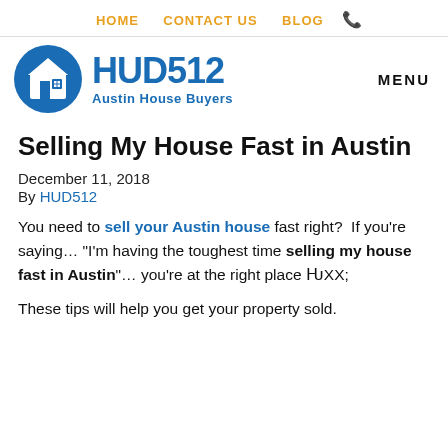HOME   CONTACT US   BLOG   📞
[Figure (logo): HUD512 Austin House Buyers logo — blue circle with house icon, blue bold text HUD512, subtitle Austin House Buyers]
MENU
Selling My House Fast in Austin
December 11, 2018
By HUD512
You need to sell your Austin house fast right?  If you're saying… "I'm having the toughest time selling my house fast in Austin"… you're at the right place 🏠
These tips will help you get your property sold.